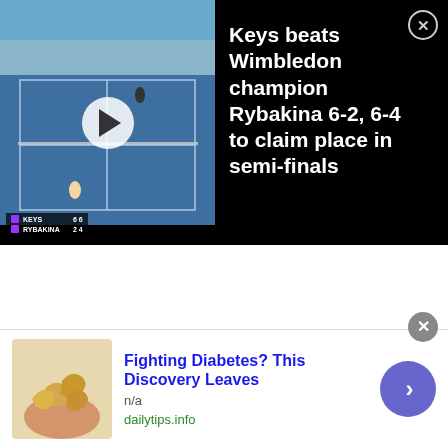[Figure (screenshot): Tennis match video thumbnail showing a blue hard court from above with players visible, overlaid with a white play button and score overlay showing KEYS vs RYBAKINA]
Keys beats Wimbledon champion Rybakina 6-2, 6-4 to claim place in semi-finals
[Figure (photo): Advertisement image showing cashew nuts on a hand, for Fighting Diabetes discovery article]
Fighting Diabetes? This Discovery Leaves
n/a
dailytips.info